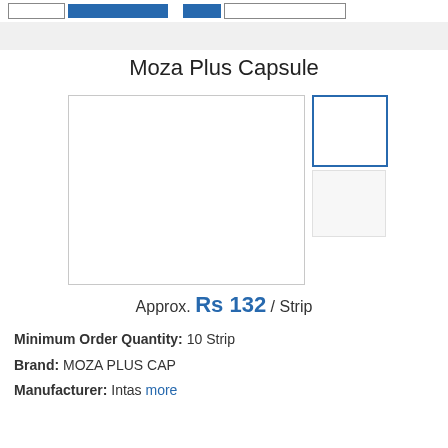[Figure (screenshot): Navigation bar with white and blue buttons at top of page]
Moza Plus Capsule
[Figure (photo): Main product image placeholder (large white box with border) for Moza Plus Capsule, with two thumbnail image boxes to the right]
Approx. Rs 132 / Strip
Minimum Order Quantity: 10 Strip
Brand: MOZA PLUS CAP
Manufacturer: Intas more